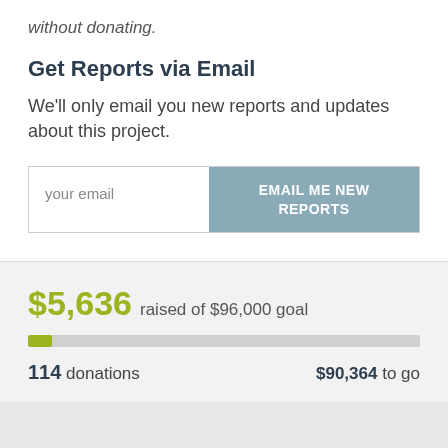without donating.
Get Reports via Email
We'll only email you new reports and updates about this project.
[Figure (other): Email input form with text field labeled 'your email' and a button labeled 'EMAIL ME NEW REPORTS']
$5,636 raised of $96,000 goal
[Figure (other): Progress bar showing approximately 6% filled in olive/yellow-green color]
114 donations    $90,364 to go